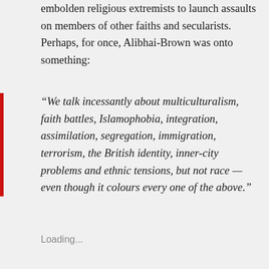embolden religious extremists to launch assaults on members of other faiths and secularists. Perhaps, for once, Alibhai-Brown was onto something:
“We talk incessantly about multiculturalism, faith battles, Islamophobia, integration, assimilation, segregation, immigration, terrorism, the British identity, inner-city problems and ethnic tensions, but not race — even though it colours every one of the above.”
[Figure (infographic): Social share buttons: Twitter (cyan), Facebook (blue), WhatsApp (green), Email (grey)]
Loading...